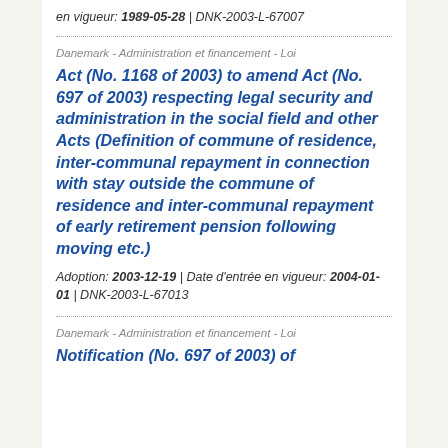en vigueur: 1989-05-28 | DNK-2003-L-67007
Danemark - Administration et financement - Loi
Act (No. 1168 of 2003) to amend Act (No. 697 of 2003) respecting legal security and administration in the social field and other Acts (Definition of commune of residence, inter-communal repayment in connection with stay outside the commune of residence and inter-communal repayment of early retirement pension following moving etc.)
Adoption: 2003-12-19 | Date d'entrée en vigueur: 2004-01-01 | DNK-2003-L-67013
Danemark - Administration et financement - Loi
Notification (No. 697 of 2003) of